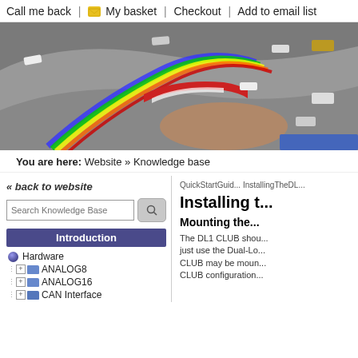Call me back | My basket | Checkout | Add to email list
[Figure (photo): Aerial view of a motorsport racing circuit with multiple race cars on track, featuring a colorful racing line (blue, green, yellow, red) through a corner with red and white kerbs.]
You are here: Website » Knowledge base
« back to website
Search Knowledge Base
Introduction
Hardware
ANALOG8
ANALOG16
CAN Interface
QuickStartGuide InstallingTheDL...
Installing t...
Mounting the...
The DL1 CLUB shou... just use the Dual-Lo... CLUB may be moun... CLUB configuration...